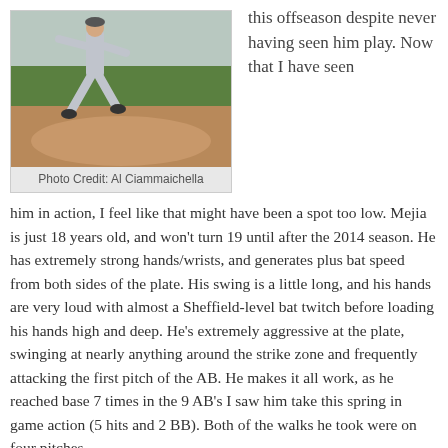[Figure (photo): Baseball player in gray uniform mid-pitch on a baseball field with dirt and grass visible]
Photo Credit: Al Ciammaichella
this offseason despite never having seen him play. Now that I have seen him in action, I feel like that might have been a spot too low. Mejia is just 18 years old, and won't turn 19 until after the 2014 season. He has extremely strong hands/wrists, and generates plus bat speed from both sides of the plate. His swing is a little long, and his hands are very loud with almost a Sheffield-level bat twitch before loading his hands high and deep. He's extremely aggressive at the plate, swinging at nearly anything around the strike zone and frequently attacking the first pitch of the AB. He makes it all work, as he reached base 7 times in the 9 AB's I saw him take this spring in game action (5 hits and 2 BB). Both of the walks he took were on four pitches